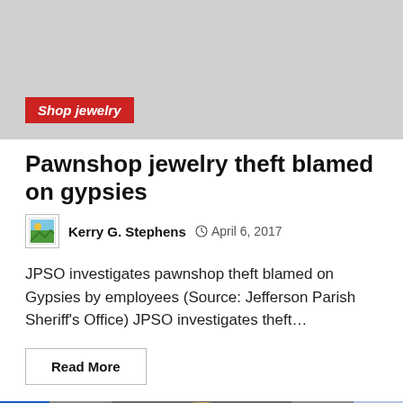[Figure (other): Gray advertisement banner with a red 'Shop jewelry' button at bottom left]
Pawnshop jewelry theft blamed on gypsies
Kerry G. Stephens  April 6, 2017
JPSO investigates pawnshop theft blamed on Gypsies by employees (Source: Jefferson Parish Sheriff's Office) JPSO investigates theft...
Read More
[Figure (photo): Photo showing a framed oval portrait of a man, flanked by blue panels on either side, with a red scroll-to-top button at bottom right]